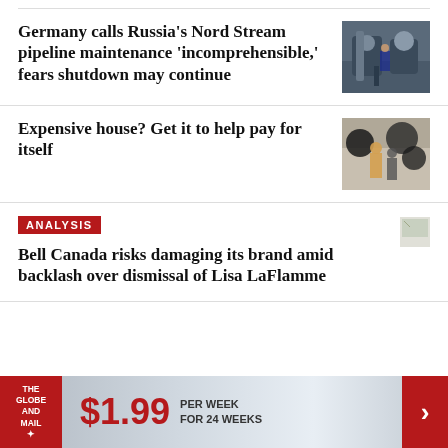Germany calls Russia's Nord Stream pipeline maintenance 'incomprehensible,' fears shutdown may continue
[Figure (photo): Photo of industrial pipeline equipment with a worker in blue coveralls]
Expensive house? Get it to help pay for itself
[Figure (photo): Photo of people in a room with balloons or round objects]
ANALYSIS
[Figure (photo): Small thumbnail image (partially loaded)]
Bell Canada risks damaging its brand amid backlash over dismissal of Lisa LaFlamme
[Figure (infographic): Footer advertisement: The Globe and Mail subscription offer — $1.99 per week for 24 weeks]